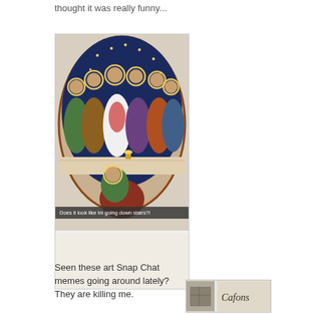thought it was really funny...
[Figure (photo): A circular religious painting (Last Supper style icon art) with a Snapchat-style caption overlay reading 'Does it look like im going down stairs?!']
Seen these art Snap Chat memes going around lately? They are killing me.
[Figure (photo): A small thumbnail image partially visible at bottom right of the page, appears to be another meme or image with a signature/text element.]